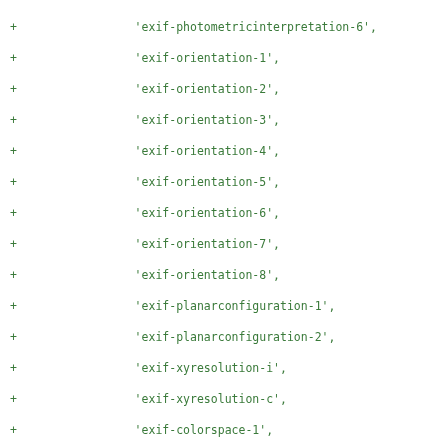+ 'exif-photometricinterpretation-6',
+ 'exif-orientation-1',
+ 'exif-orientation-2',
+ 'exif-orientation-3',
+ 'exif-orientation-4',
+ 'exif-orientation-5',
+ 'exif-orientation-6',
+ 'exif-orientation-7',
+ 'exif-orientation-8',
+ 'exif-planarconfiguration-1',
+ 'exif-planarconfiguration-2',
+ 'exif-xyresolution-i',
+ 'exif-xyresolution-c',
+ 'exif-colorspace-1',
+ 'exif-colorspace-ffff.h',
+ 'exif-componentsconfiguration-0',
+ 'exif-componentsconfiguration-1',
+ 'exif-componentsconfiguration-2',
+ 'exif-componentsconfiguration-3',
+ 'exif-componentsconfiguration-4',
+ 'exif-componentsconfiguration-5',
+ 'exif-componentsconfiguration-6',
+ 'exif-exposureprogram-0',
+ 'exif-exposureprogram-1',
+ 'exif-exposureprogram-2',
+ 'exif-exposureprogram-3',
+ 'exif-exposureprogram-4',
+ 'exif-exposureprogram-5',
+ 'exif-exposureprogram-6',
+ 'exif-exposureprogram-7',